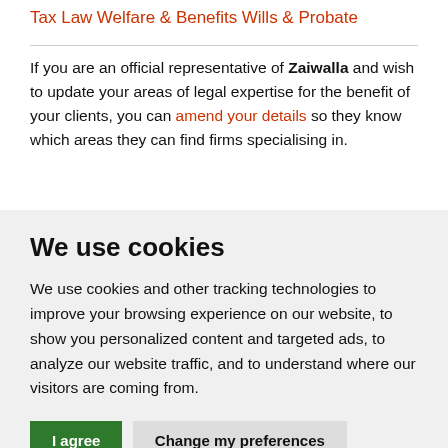Tax Law
Welfare & Benefits
Wills & Probate
If you are an official representative of Zaiwalla and wish to update your areas of legal expertise for the benefit of your clients, you can amend your details so they know which areas they can find firms specialising in.
We use cookies
We use cookies and other tracking technologies to improve your browsing experience on our website, to show you personalized content and targeted ads, to analyze our website traffic, and to understand where our visitors are coming from.